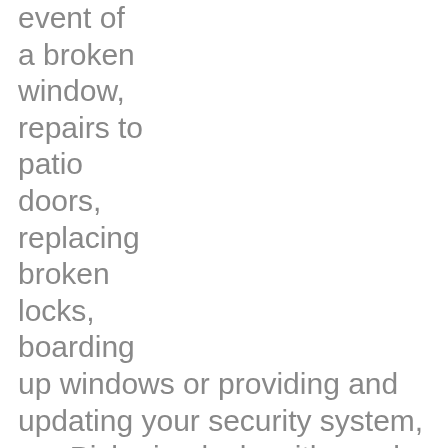event of a broken window, repairs to patio doors, replacing broken locks, boarding up windows or providing and updating your security system, our Pickering locksmiths and Door Repair are on call 24 hours a day 7 days a week to help you. Home security and home surveillance, including CCTV, are just some of the services we provide for your peace of mind even providing insurance estimates. Our qualified emergency locksmiths are fully...